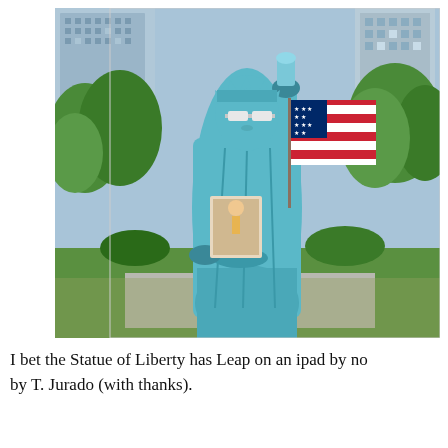[Figure (photo): A person dressed in a Statue of Liberty costume — full-body blue-painted bodysuit, white sunglasses, crown — standing in an outdoor park setting with trees, green lawn, city buildings visible in background. The figure holds an American flag in one raised hand and a small album or book cover image against their chest with the other hand. The costume is a vivid light blue color.]
I bet the Statue of Liberty has Leap on an ipad by now by T. Jurado (with thanks).